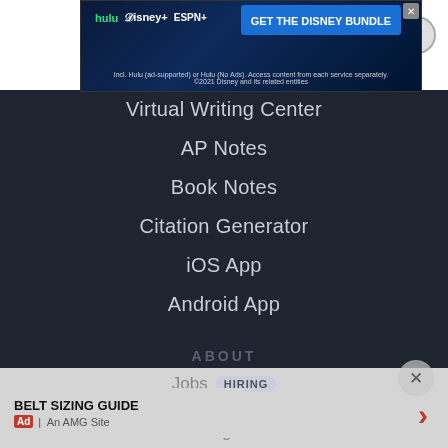[Figure (screenshot): Disney Bundle advertisement banner with Hulu, Disney+, and ESPN+ logos and 'GET THE DISNEY BUNDLE' call-to-action button]
Virtual Writing Center
AP Notes
Book Notes
Citation Generator
iOS App
Android App
ABOUT
Company
Advertise
Jobs HIRING
Blog
Legal
[Figure (screenshot): Belt Sizing Guide advertisement with 'Ad | An AMG Site' label and right arrow chevron]